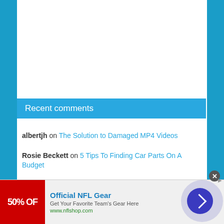Recent comments
albertjh on The Solution to Damaged MP4 Videos
Rosie Beckett on 5 Tips To Finding Car Parts On A Budget
Rosie Beckett on Choose The Right Steel Fabrication Company
SubcoDevs on 9 Tips and tricks to develop a high-performance iOS app
[Figure (other): Advertisement banner for Official NFL Gear showing 50% OFF promotion with NFL shop URL www.nflshop.com]